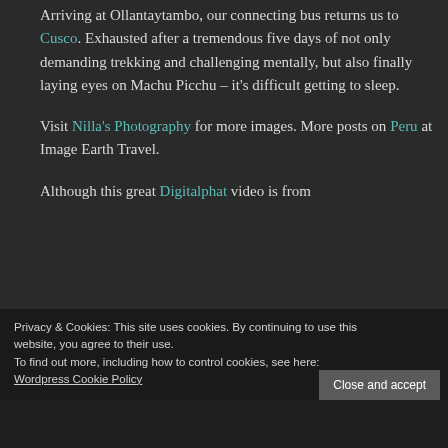Arriving at Ollantaytambo, our connecting bus returns us to Cusco. Exhausted after a tremendous five days of not only demanding trekking and challenging mentally, but also finally laying eyes on Machu Picchu – it's difficult getting to sleep.
Visit Nilla's Photography for more images. More posts on Peru at Image Earth Travel.
Although this great Digitalphat video is from
Privacy & Cookies: This site uses cookies. By continuing to use this website, you agree to their use.
To find out more, including how to control cookies, see here:
Wordpress Cookie Policy
Close and accept